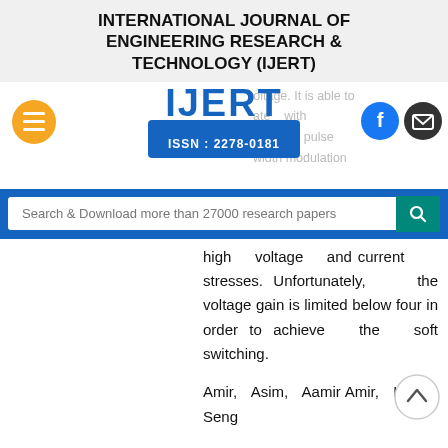INTERNATIONAL JOURNAL OF ENGINEERING RESEARCH & TECHNOLOGY (IJERT)
[Figure (logo): IJERT logo with ISSN: 2278-0181, navigation icons including orange hamburger menu, Facebook button, and email button, plus a search bar reading 'Search & Download more than 27000 research papers']
high voltage and current stresses. Unfortunately, the voltage gain is limited below four in order to achieve the soft switching.
Amir, Asim, Aamir Amir, Hang Seng